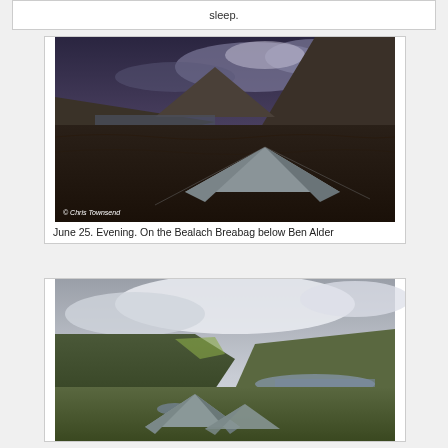sleep.
[Figure (photo): A tent pitched on moorland at evening, with mountains and a loch in the background. Overcast/purple sky. Watermark: © Chris Townsend]
June 25. Evening. On the Bealach Breabag below Ben Alder
[Figure (photo): A tent pitched on green moorland with hills and a loch visible in the background. Overcast sky with clouds.]